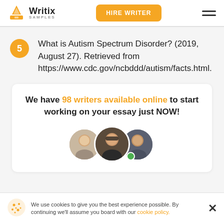Writix Samples | HIRE WRITER
What is Autism Spectrum Disorder? (2019, August 27). Retrieved from https://www.cdc.gov/ncbddd/autism/facts.html.
We have 98 writers available online to start working on your essay just NOW!
[Figure (photo): Three overlapping circular avatar photos of writers with a green online indicator dot]
We use cookies to give you the best experience possible. By continuing we'll assume you board with our cookie policy.